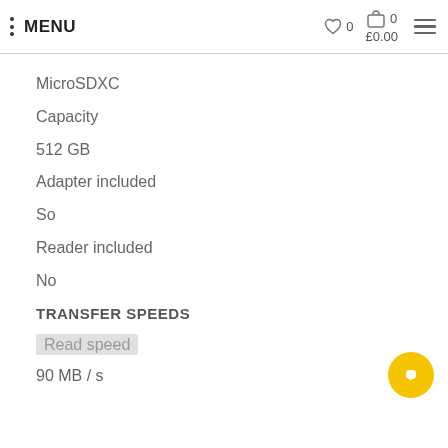MENU  ♡ 0  🛒 0  £0.00
MicroSDXC
Capacity
512 GB
Adapter included
So
Reader included
No
TRANSFER SPEEDS
Read speed
90 MB / s